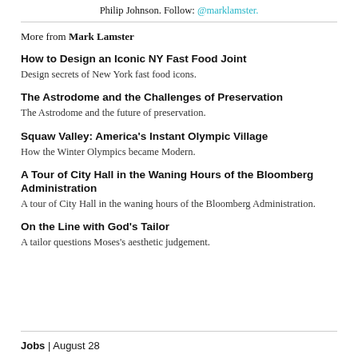Philip Johnson. Follow: @marklamster.
More from Mark Lamster
How to Design an Iconic NY Fast Food Joint
Design secrets of New York fast food icons.
The Astrodome and the Challenges of Preservation
The Astrodome and the future of preservation.
Squaw Valley: America's Instant Olympic Village
How the Winter Olympics became Modern.
A Tour of City Hall in the Waning Hours of the Bloomberg Administration
A tour of City Hall in the waning hours of the Bloomberg Administration.
On the Line with God's Tailor
A tailor questions Moses's aesthetic judgement.
Jobs | August 28